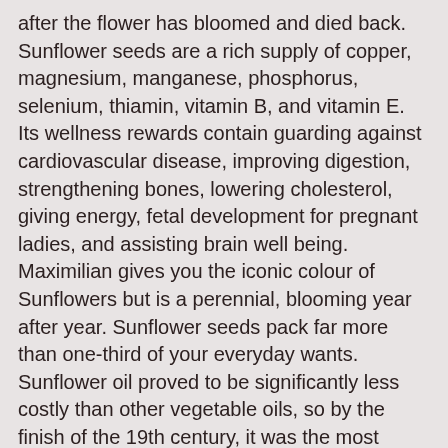after the flower has bloomed and died back. Sunflower seeds are a rich supply of copper, magnesium, manganese, phosphorus, selenium, thiamin, vitamin B, and vitamin E. Its wellness rewards contain guarding against cardiovascular disease, improving digestion, strengthening bones, lowering cholesterol, giving energy, fetal development for pregnant ladies, and assisting brain well being. Maximilian gives you the iconic colour of Sunflowers but is a perennial, blooming year after year. Sunflower seeds pack far more than one-third of your everyday wants. Sunflower oil proved to be significantly less costly than other vegetable oils, so by the finish of the 19th century, it was the most common variety of oil utilized by Russians. Every single quarter-cup serving of sunflower seeds gives 82% of the Day-to-day Worth (DV) for vitamin E. Referred to as either confection or non-oil, seeds are a delicious and nutritious snack or addition to your favorite food. However, FLO does not have a minimum price for sunflower seeds. Did you know that ¼ cup of sunflower seeds contains almost double of your recommended daily value of Vitamin E and almost your entire daily worth of Vitamin B5. In 2017, imports of sunflower seeds in Europe totalled three.four million...